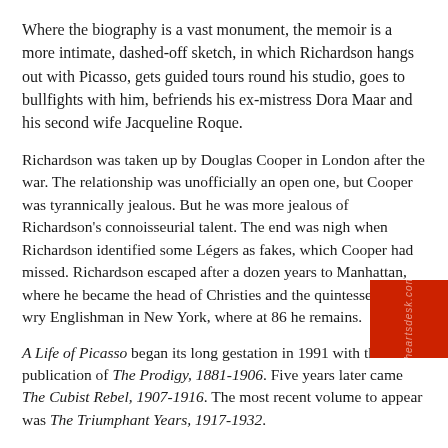Where the biography is a vast monument, the memoir is a more intimate, dashed-off sketch, in which Richardson hangs out with Picasso, gets guided tours round his studio, goes to bullfights with him, befriends his ex-mistress Dora Maar and his second wife Jacqueline Roque.
Richardson was taken up by Douglas Cooper in London after the war. The relationship was unofficially an open one, but Cooper was tyrannically jealous. But he was more jealous of Richardson's connoisseurial talent. The end was nigh when Richardson identified some Légers as fakes, which Cooper had missed. Richardson escaped after a dozen years to Manhattan, where he became the head of Christies and the quintessentially wry Englishman in New York, where at 86 he remains.
A Life of Picasso began its long gestation in 1991 with the publication of The Prodigy, 1881-1906. Five years later came The Cubist Rebel, 1907-1916. The most recent volume to appear was The Triumphant Years, 1917-1932.
His total Picassian immersion is manifested not only in the biography but also in curatorial forays. His first was a nine-room retrospective in New York in 1962. In London he has curated shows at the Gagosian, including Picasso: The Mediterranean Years (1945-1962), which more or less covers his own period in the inner circle. Richardson reminisced about life in Provence with theartsdesk.